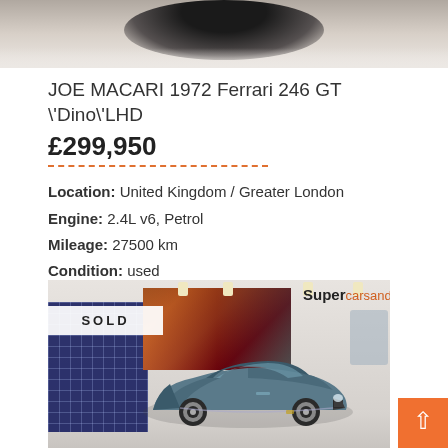[Figure (photo): Partial top view of a car, cropped at top of page]
JOE MACARI 1972 Ferrari 246 GT \'Dino\'LHD
£299,950
Location: United Kingdom / Greater London
Engine: 2.4L v6, Petrol
Mileage: 27500 km
Condition: used
Details
[Figure (photo): A teal/blue classic Ferrari convertible displayed in a showroom with 'SOLD' badge overlay and Supercarsandclassics branding]